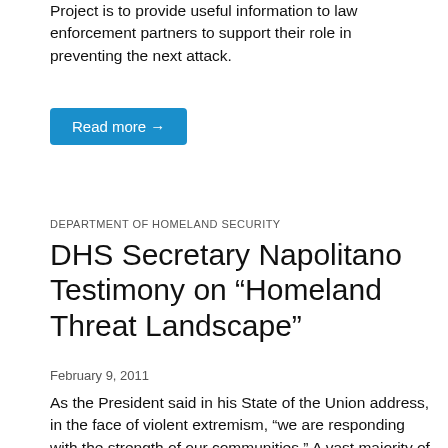Project is to provide useful information to law enforcement partners to support their role in preventing the next attack.
Read more →
DEPARTMENT OF HOMELAND SECURITY
DHS Secretary Napolitano Testimony on “Homeland Threat Landscape”
February 9, 2011
As the President said in his State of the Union address, in the face of violent extremism, “we are responding with the strength of our communities.” A vast majority of people in every American community resoundingly reject violence, and this certainly includes the violent, al-Qaeda-style ideology that claims to launch attacks in the name of their widely rejected version of Islam. We must use these facts as a tool against the threat of homegrown violent extremism